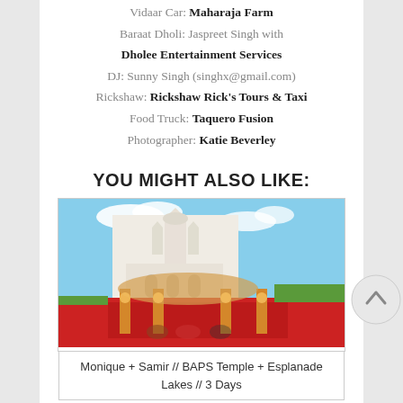Vidaar Car: Maharaja Farm
Baraat Dholi: Jaspreet Singh with Dholee Entertainment Services
DJ: Sunny Singh (singhx@gmail.com)
Rickshaw: Rickshaw Rick's Tours & Taxi
Food Truck: Taquero Fusion
Photographer: Katie Beverley
YOU MIGHT ALSO LIKE:
[Figure (photo): An ornate white marble temple (BAPS style) in the background with a red-carpeted wedding mandap structure with decorative pillars in the foreground under a blue sky.]
Monique + Samir // BAPS Temple + Esplanade Lakes // 3 Days
[Figure (photo): Partially visible bottom image, appears grey/muted, cut off at the bottom of the page.]